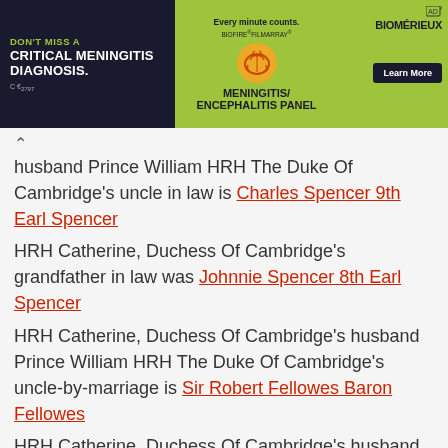[Figure (infographic): Advertisement banner for BioMérieux BIOFIRE FILMARRAY Meningitis/Encephalitis Panel. Dark left panel reads 'DON'T MISS A CRITICAL MENINGITIS DIAGNOSIS.' with CE mark. Green right section shows brain icon, tagline 'Every minute counts.', product name MENINGITIS/ENCEPHALITIS PANEL, BioMérieux logo, and Learn More button.]
husband Prince William HRH The Duke Of Cambridge's uncle in law is Charles Spencer 9th Earl Spencer
HRH Catherine, Duchess Of Cambridge's grandfather in law was Johnnie Spencer 8th Earl Spencer
HRH Catherine, Duchess Of Cambridge's husband Prince William HRH The Duke Of Cambridge's uncle-by-marriage is Sir Robert Fellowes Baron Fellowes
HRH Catherine, Duchess Of Cambridge's husband Prince William HRH The Duke Of Cambridge's aunt-by-marriage is Karen